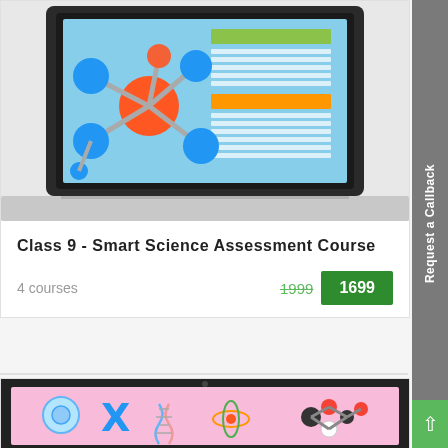[Figure (illustration): Laptop mockup displaying a molecular structure (orange and blue 3D molecule) on a blue background with colored horizontal bars/lines on the right side]
Class 9 - Smart Science Assessment Course
4 courses
1999  1699
[Figure (illustration): Laptop mockup (dark frame) displaying science illustrations on a pink background: cell, chromosome, DNA helix, atom, and molecular model]
Request a Callback